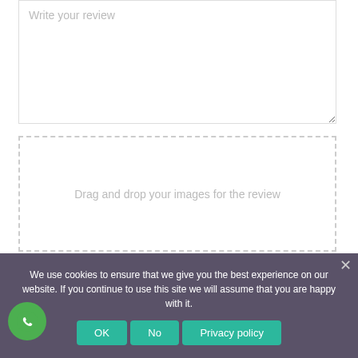[Figure (screenshot): A textarea input field with placeholder text 'Write your review']
[Figure (screenshot): A dashed-border drag and drop area with text 'Drag and drop your images for the review']
[Figure (other): Five heart outline icons in purple/lavender color representing a rating system]
We use cookies to ensure that we give you the best experience on our website. If you continue to use this site we will assume that you are happy with it.
OK  No  Privacy policy